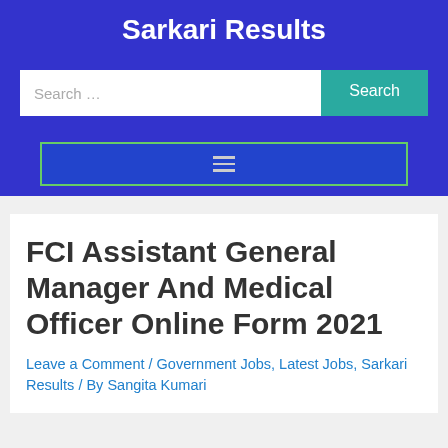Sarkari Results
FCI Assistant General Manager And Medical Officer Online Form 2021
Leave a Comment / Government Jobs, Latest Jobs, Sarkari Results / By Sangita Kumari